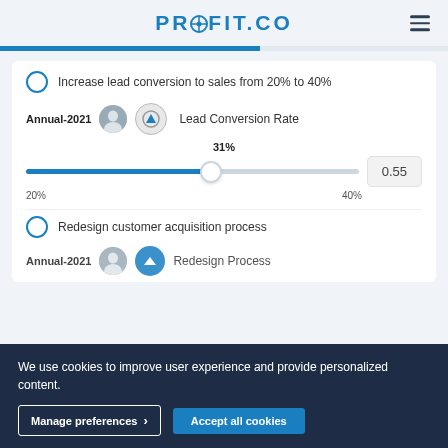PROFIT.CO
Increase lead conversion to sales from 20% to 40%
Annual-2021  Lead Conversion Rate
[Figure (other): Slider showing 31% between range 20% and 40%, with score 0.55]
Redesign customer acquisition process
Annual-2021  Redesign Process
We use cookies to improve user experience and provide personalized content.
Manage preferences  Accept all cookies